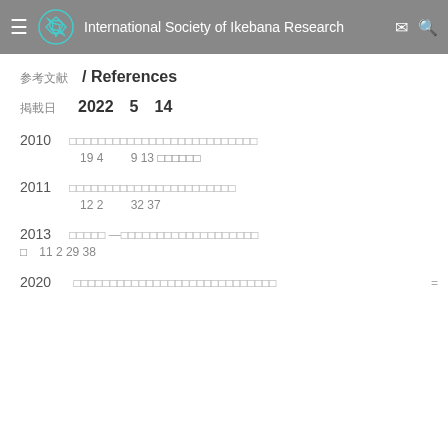International Society of Ikebana Research
参考文献 / References
掲載日　　2022 5 14
2010　　　□□□□□□□□□□□□□□□□□□□□□□□□□□□
　　　　　　19 4　　9 13 □□□□□□
2011　　　□□□□□□□□□□□□□□□□□□□□□□□□
　　　　　　12 2　　32 37
2013　□□□□□ —□□□□□□□□□□□□□□□□□□□□
□　11 2 29 38
2020　□□□□□□□□□□□□□□□□□□□□□□□□□□□□　=